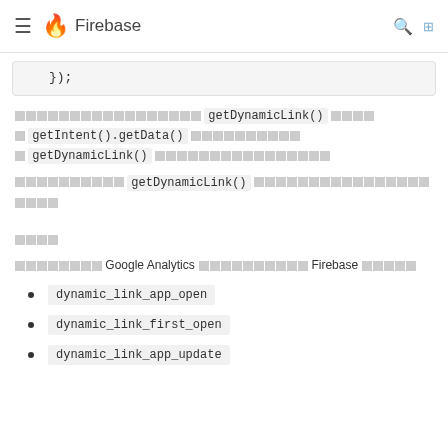Firebase
});
[CJK text] getDynamicLink() [CJK] [CJK] getIntent().getData() [CJK text] [CJK] getDynamicLink() [CJK text]
[CJK text] getDynamicLink() [CJK text]
[CJK] アナリティクス
[CJK text] Google Analytics [CJK text] Firebase [CJK text]
dynamic_link_app_open
dynamic_link_first_open
dynamic_link_app_update